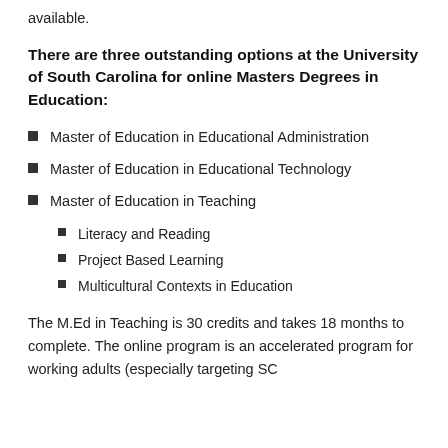available.
There are three outstanding options at the University of South Carolina for online Masters Degrees in Education:
Master of Education in Educational Administration
Master of Education in Educational Technology
Master of Education in Teaching
Literacy and Reading
Project Based Learning
Multicultural Contexts in Education
The M.Ed in Teaching is 30 credits and takes 18 months to complete. The online program is an accelerated program for working adults (especially targeting SC